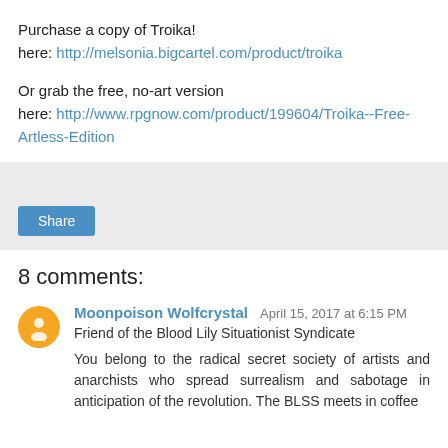Purchase a copy of Troika!
here: http://melsonia.bigcartel.com/product/troika
Or grab the free, no-art version
here: http://www.rpgnow.com/product/199604/Troika--Free-Artless-Edition
[Figure (screenshot): Share button area with light grey background and a blue 'Share' button]
8 comments:
Moonpoison Wolfcrystal  April 15, 2017 at 6:15 PM
Friend of the Blood Lily Situationist Syndicate

You belong to the radical secret society of artists and anarchists who spread surrealism and sabotage in anticipation of the revolution. The BLSS meets in coffee